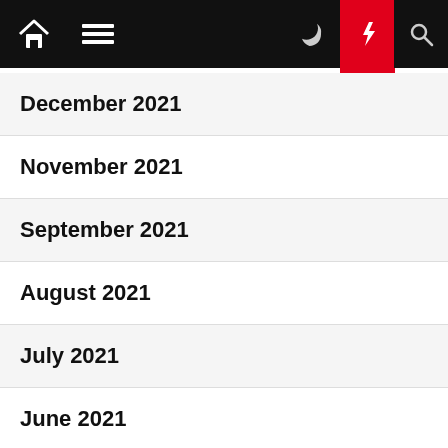Navigation bar with home, menu, moon, bolt (active), and search icons
December 2021
November 2021
September 2021
August 2021
July 2021
June 2021
May 2021
April 2021
March 2021